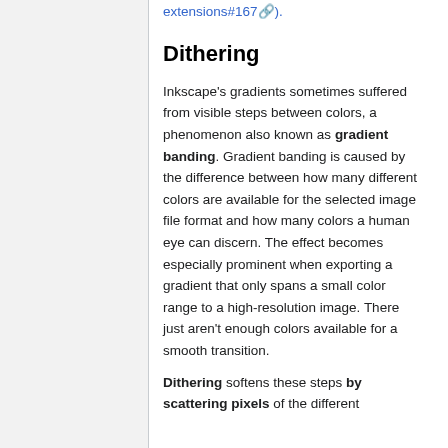(extensions#167).
Dithering
Inkscape's gradients sometimes suffered from visible steps between colors, a phenomenon also known as gradient banding. Gradient banding is caused by the difference between how many different colors are available for the selected image file format and how many colors a human eye can discern. The effect becomes especially prominent when exporting a gradient that only spans a small color range to a high-resolution image. There just aren't enough colors available for a smooth transition.
Dithering softens these steps by scattering pixels of the different adjacent colors along the gradient a little